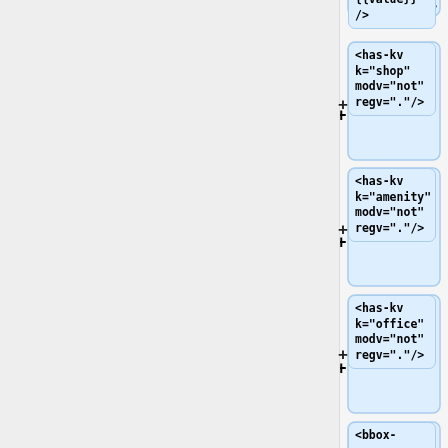[Figure (flowchart): A vertical flowchart showing XML query node boxes with plus connectors. Nodes (from top): partially visible '{{value}} />', '<has-kv k="shop" modv="not" regv="."/>', '<has-kv k="amenity" modv="not" regv="."/>', '<has-kv k="office" modv="not" regv="."/>', '<bbox-query {{bbox}}/>', '</query>', '</union>'. Each node connected by a '+' sign on the left.]